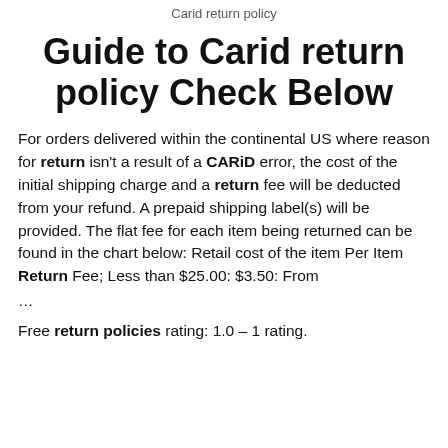Carid return policy
Guide to Carid return policy Check Below
For orders delivered within the continental US where reason for return isn't a result of a CARiD error, the cost of the initial shipping charge and a return fee will be deducted from your refund. A prepaid shipping label(s) will be provided. The flat fee for each item being returned can be found in the chart below: Retail cost of the item Per Item Return Fee; Less than $25.00: $3.50: From
…
Free return policies rating: 1.0 – 1 rating.